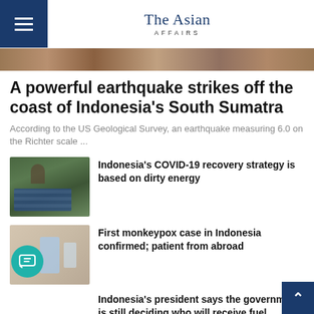The Asian Affairs
[Figure (photo): Hero image strip showing disaster/earthquake scene]
A powerful earthquake strikes off the coast of Indonesia's South Sumatra
According to the US Geological Survey, an earthquake measuring 6.0 on the Richter scale ...
[Figure (photo): Person working on solar panels on a rooftop]
Indonesia's COVID-19 recovery strategy is based on dirty energy
[Figure (photo): Gloved hands holding a vaccine vial]
First monkeypox case in Indonesia confirmed; patient from abroad
Indonesia's president says the government is still deciding who will receive fuel subsidies